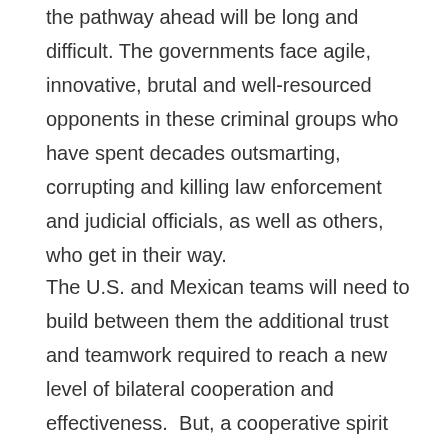the pathway ahead will be long and difficult. The governments face agile, innovative, brutal and well-resourced opponents in these criminal groups who have spent decades outsmarting, corrupting and killing law enforcement and judicial officials, as well as others, who get in their way.
The U.S. and Mexican teams will need to build between them the additional trust and teamwork required to reach a new level of bilateral cooperation and effectiveness.  But, a cooperative spirit and shared vision were on display after last week's talks.  Mexican Foreign Minister Videgaray talked about overcoming “the blame game and